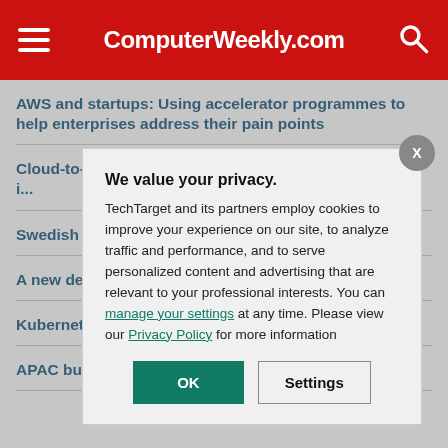ComputerWeekly.com
AWS and startups: Using accelerator programmes to help enterprises address their pain points
Cloud-to-cloud backup: When native cloud protection is not enough
Swedish en... attention w...
A new desi...
Kubernetes... players
APAC buye... software
We value your privacy. TechTarget and its partners employ cookies to improve your experience on our site, to analyze traffic and performance, and to serve personalized content and advertising that are relevant to your professional interests. You can manage your settings at any time. Please view our Privacy Policy for more information